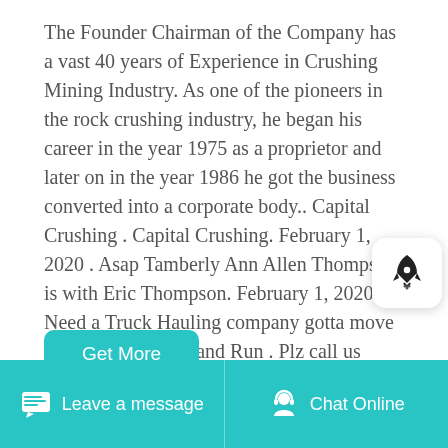The Founder Chairman of the Company has a vast 40 years of Experience in Crushing Mining Industry. As one of the pioneers in the rock crushing industry, he began his career in the year 1975 as a proprietor and later on in the year 1986 he got the business converted into a corporate body.. Capital Crushing . Capital Crushing. February 1, 2020 . Asap Tamberly Ann Allen Thompson is with Eric Thompson. February 1, 2020. Need a Truck Hauling company gotta move 500 tons Of Crush and Run . Plz call us 843-247-3228. 7 Shares. Like Comment Share.
[Figure (other): Rocket icon popup button in white rounded rectangle]
Get More
[Figure (photo): Partial photo strip visible at bottom of content area]
Leave a message   Chat Online